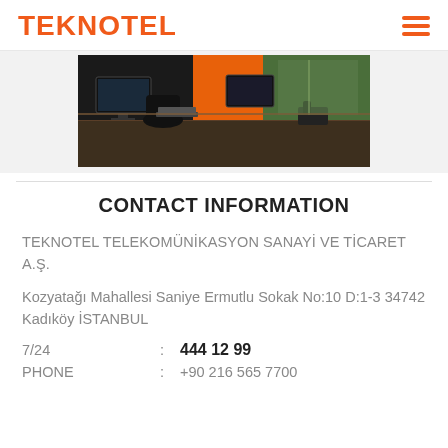TEKNOTEL
[Figure (photo): Office workspace photo showing desks with monitors and chairs, orange divider in background, window with greenery visible]
CONTACT INFORMATION
TEKNOTEL TELEKOMÜNİKASYON SANAYİ VE TİCARET A.Ş.
Kozyatağı Mahallesi Saniye Ermutlu Sokak No:10 D:1-3 34742 Kadıköy İSTANBUL
7/24 : 444 12 99
PHONE : +90 216 565 7700